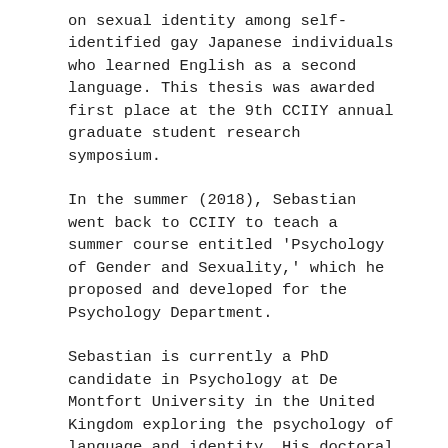on sexual identity among self-identified gay Japanese individuals who learned English as a second language. This thesis was awarded first place at the 9th CCIIY annual graduate student research symposium.
In the summer (2018), Sebastian went back to CCIIY to teach a summer course entitled 'Psychology of Gender and Sexuality,' which he proposed and developed for the Psychology Department.
Sebastian is currently a PhD candidate in Psychology at De Montfort University in the United Kingdom exploring the psychology of language and identity. His doctoral research at DMU - which was awarded a 3-year full scholarship - aims to gain a better understanding of the psychological, linguistic, and social experiences of non-binary people living in the